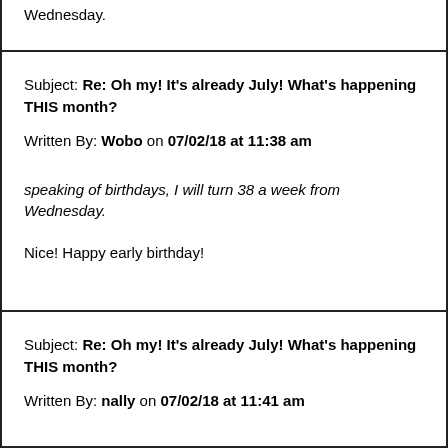Wednesday.
Subject: Re: Oh my! It's already July! What's happening THIS month?
Written By: Wobo on 07/02/18 at 11:38 am
speaking of birthdays, I will turn 38 a week from Wednesday.
Nice! Happy early birthday!
Subject: Re: Oh my! It's already July! What's happening THIS month?
Written By: nally on 07/02/18 at 11:41 am